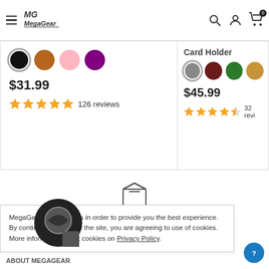[Figure (screenshot): MegaGear website header with hamburger menu, logo, search icon, user icon, and cart icon with badge 0]
[Figure (screenshot): Product card left: 4 color swatches (black selected, brown, pink, purple), price $31.99, 5-star rating, 126 reviews]
[Figure (screenshot): Product card right: Card Holder title (partially cut), 4 color swatches (gray selected, maroon, green, tan), price $45.99, 4.5-star rating, 32 reviews (partially cut)]
[Figure (infographic): World-Wide Shipping section with box icon and title]
MegaGear uses cookies in order to provide you the best experience. By continuing to browse the site, you are agreeing to use of cookies. More information about cookies on Privacy Policy.
[Figure (screenshot): Chat widget icon in lower left]
ABOUT MEGAGEAR
[Figure (screenshot): Blue help button with question mark in bottom right corner]